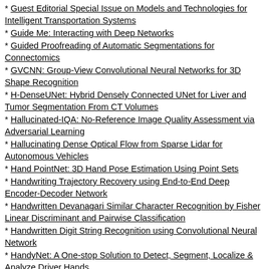* Guest Editorial Special Issue on Models and Technologies for Intelligent Transportation Systems
* Guide Me: Interacting with Deep Networks
* Guided Proofreading of Automatic Segmentations for Connectomics
* GVCNN: Group-View Convolutional Neural Networks for 3D Shape Recognition
* H-DenseUNet: Hybrid Densely Connected UNet for Liver and Tumor Segmentation From CT Volumes
* Hallucinated-IQA: No-Reference Image Quality Assessment via Adversarial Learning
* Hallucinating Dense Optical Flow from Sparse Lidar for Autonomous Vehicles
* Hand PointNet: 3D Hand Pose Estimation Using Point Sets
* Handwriting Trajectory Recovery using End-to-End Deep Encoder-Decoder Network
* Handwritten Devanagari Similar Character Recognition by Fisher Linear Discriminant and Pairwise Classification
* Handwritten Digit String Recognition using Convolutional Neural Network
* HandyNet: A One-stop Solution to Detect, Segment, Localize & Analyze Driver Hands
* Hard Example Mining with Auxiliary Embeddings
* Hard Zero Shot Learning for Gesture Recognition
* Harmonious Attention Network for Person Re-identification